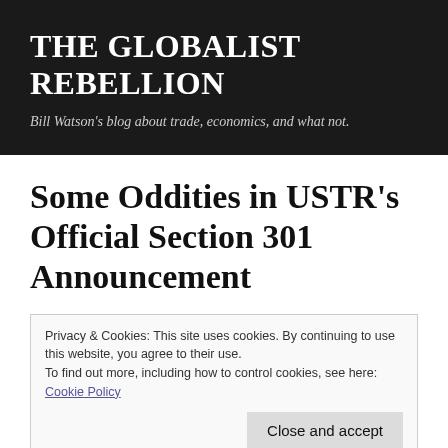THE GLOBALIST REBELLION
Bill Watson's blog about trade, economics, and what not.
Some Oddities in USTR's Official Section 301 Announcement
Privacy & Cookies: This site uses cookies. By continuing to use this website, you agree to their use. To find out more, including how to control cookies, see here: Cookie Policy  [Close and accept]
it wanted the U.S. Trade Representative to